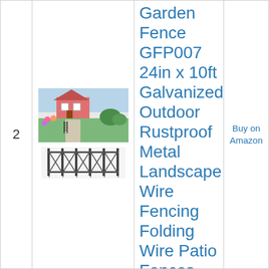2
[Figure (photo): Product image showing a garden fence installed along a pathway with flowers and lawn, plus a standalone metal decorative wire fence panel below.]
Garden Fence GFP007 24in x 10ft Galvanized Outdoor Rustproof Metal Landscape Wire Fencing Folding Wire Patio Fences Flower Bed
Buy on Amazon